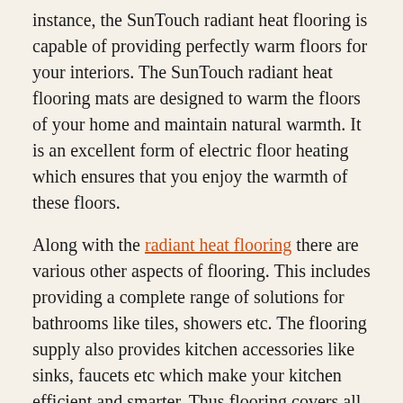instance, the SunTouch radiant heat flooring is capable of providing perfectly warm floors for your interiors. The SunTouch radiant heat flooring mats are designed to warm the floors of your home and maintain natural warmth. It is an excellent form of electric floor heating which ensures that you enjoy the warmth of these floors.
Along with the radiant heat flooring there are various other aspects of flooring. This includes providing a complete range of solutions for bathrooms like tiles, showers etc. The flooring supply also provides kitchen accessories like sinks, faucets etc which make your kitchen efficient and smarter. Thus flooring covers all the aspects of a complete home.
Professional radiant floor heating services also provide you with an option to arrive at your flooring requirements. It is a customized service which does a need analysis and helps you to determine your flooring requirements. You can even buy these products online along with various accessories.
Flooring Supply Shop offers SunTouch radiant heat flooring…